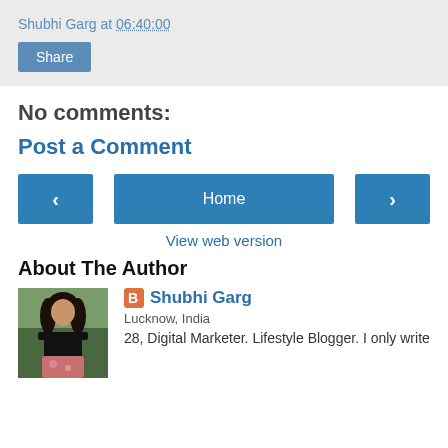Shubhi Garg at 06:40:00
Share
No comments:
Post a Comment
< Home >
View web version
About The Author
[Figure (photo): Photo of Shubhi Garg, a young woman with long dark hair wearing a black off-shoulder top]
Shubhi Garg
Lucknow, India
28, Digital Marketer. Lifestyle Blogger. I only write